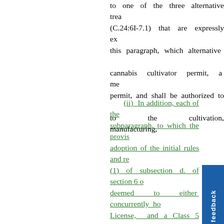to one of the three alternative treatments (C.24:6I-7.1) that are expressly excluded from this paragraph, which alternatives include a cannabis cultivator permit, a medical cannabis permit, and shall be authorized to engage in activities to the cultivation, manufacturing,
(ii) In addition, each of the subparagraph, to which the provisions adoption of the initial rules and re (1) of subsection d. of section 6 o deemed to either concurrently ho License, and a Class 5 Cannabis R each satellite dispensary authori subparagraph (d) of this par treatment center deemed to h operate as any authorized d municipality in which the p licenses, as applicable, issued by of P.L. c. (C. ) (pending